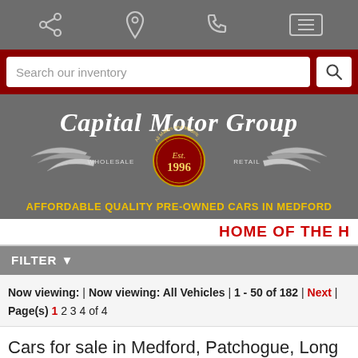[Figure (screenshot): Top navigation bar with share, location, phone, and menu icons on a gray background]
[Figure (screenshot): Search bar with 'Search our inventory' placeholder and magnifying glass button on dark red background]
[Figure (logo): Capital Motor Group logo with wings, Est. 1996, Wholesale and Retail text on gray background]
AFFORDABLE QUALITY PRE-OWNED CARS IN MEDFORD
HOME OF THE H
FILTER
Now viewing:  | Now viewing: All Vehicles | 1 - 50 of 182 | Next | Page(s) 1 2 3 4  of 4
Cars for sale in Medford, Patchogue, Long Island, Coram, NY | Capital Motor Group